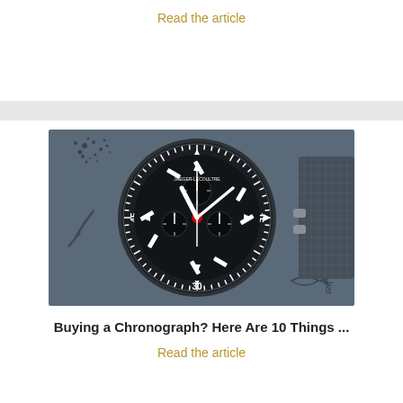Read the article
[Figure (photo): Close-up photograph of a Jaeger-LeCoultre diver chronograph watch with black dial, red center seconds hand, bezel marked with dive time markers (45, 15, 30), on a mesh bracelet, placed on a dark textured surface with a fish and '10 bar' marking visible]
Buying a Chronograph? Here Are 10 Things ...
Read the article